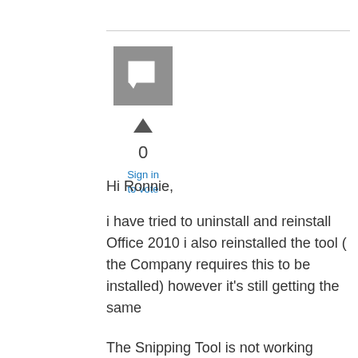[Figure (illustration): Gray square avatar/user icon with a speech bubble or comment symbol in white]
0
Sign in to vote
Hi Ronnie,
i have tried to uninstall and reinstall Office 2010 i also reinstalled the tool ( the Company requires this to be installed) however it's still getting the same
The Snipping Tool is not working